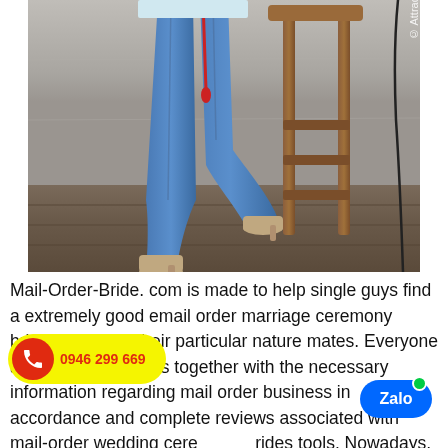[Figure (photo): Photo of a woman's lower body wearing blue skinny jeans and beige high heels, standing next to a wooden bar stool chair. Background shows a gray/concrete wall and wooden floor. Watermark text '© Attractive' visible on right side.]
Mail-Order-Bride. com is made to help single guys find a extremely good email order marriage ceremony brides and fulfill their particular nature mates. Everyone aims to supply users together with the necessary information regarding mail order business in accordance and complete reviews associated with mail-order wedding ceremony brides tools. Nowadays, the very best email order marriage